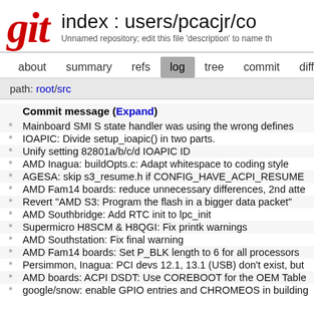index : users/pcacjr/co
Unnamed repository; edit this file 'description' to name th
about | summary | refs | log | tree | commit | diff | stat
path: root/src
|  | Commit message (Expand) |
| --- | --- |
| * | Mainboard SMI S state handler was using the wrong defines |
| * | IOAPIC: Divide setup_ioapic() in two parts. |
| * | Unify setting 82801a/b/c/d IOAPIC ID |
| * | AMD Inagua: buildOpts.c: Adapt whitespace to coding style |
| * | AGESA: skip s3_resume.h if CONFIG_HAVE_ACPI_RESUME |
| * | AMD Fam14 boards: reduce unnecessary differences, 2nd atte |
| * | Revert "AMD S3: Program the flash in a bigger data packet" |
| * | AMD Southbridge: Add RTC init to lpc_init |
| * | Supermicro H8SCM & H8QGI: Fix printk warnings |
| * | AMD Southstation: Fix final warning |
| * | AMD Fam14 boards: Set P_BLK length to 6 for all processors |
| * | Persimmon, Inagua: PCI devs 12.1, 13.1 (USB) don't exist, but |
| * | AMD boards: ACPI DSDT: Use COREBOOT for the OEM Table |
| * | google/snow: enable GPIO entries and CHROMEOS in building |